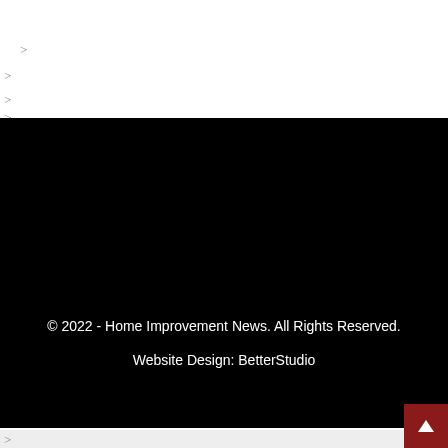>
>
>
>
© 2022 - Home Improvement News. All Rights Reserved.
Website Design: BetterStudio
>